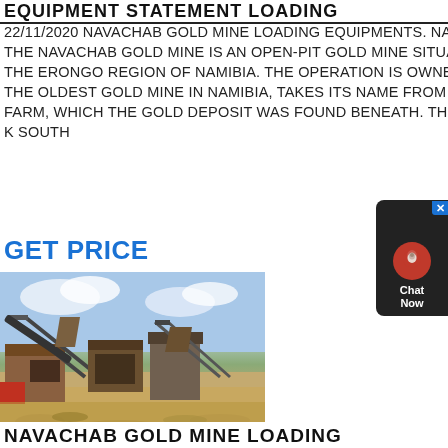EQUIPMENT STATEMENT LOADING
22/11/2020 NAVACHAB GOLD MINE LOADING EQUIPMENTS. NAVACHAB GOLD MINE . THE NAVACHAB GOLD MINE IS AN OPEN-PIT GOLD MINE SITUATED NEAR KARIBIB, IN THE ERONGO REGION OF NAMIBIA. THE OPERATION IS OWNED BY QKR. NAVACHAB, THE OLDEST GOLD MINE IN NAMIBIA, TAKES ITS NAME FROM THE LOCAL NAVACHAB FARM, WHICH THE GOLD DEPOSIT WAS FOUND BENEATH. THE DEPOSIT IS LOCATED 6 K SOUTH
GET PRICE
[Figure (photo): Photograph of Navachab Gold Mine loading equipment — large industrial conveyor belts and crushing machinery at an open-pit mining operation, with blue sky and clouds in the background.]
NAVACHAB GOLD MINE LOADING